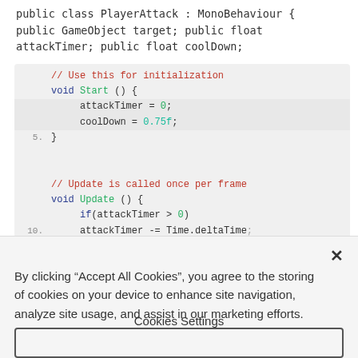public class PlayerAttack : MonoBehaviour { public GameObject target; public float attackTimer; public float coolDown;
[Figure (screenshot): Code editor screenshot showing C# MonoBehaviour class with Start() and Update() methods. Lines include: // Use this for initialization, void Start () {, attackTimer = 0;, coolDown = 0.75f;, 5. }, blank line, // Update is called once per frame, void Update () {, if(attackTimer > 0), 10. attackTimer -= Time.deltaTime;]
By clicking “Accept All Cookies”, you agree to the storing of cookies on your device to enhance site navigation, analyze site usage, and assist in our marketing efforts.
Cookies Settings